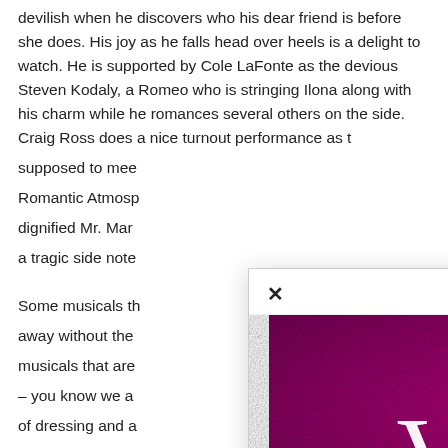devilish when he discovers who his dear friend is before she does. His joy as he falls head over heels is a delight to watch. He is supported by Cole LaFonte as the devious Steven Kodaly, a Romeo who is stringing Ilona along with his charm while he romances several others on the side. Craig Ross does a nice turnout performance as t supposed to mee Romantic Atmosp dignified Mr. Mar a tragic side note
Some musicals th away without the musicals that are – you know we a of dressing and a that disappointed brilliant scenic designer; his sets for INTO THE WOODS and BEAUTY AND THE BEAST have been full of color and fun. This set,
[Figure (screenshot): A modal popup showing 'MORE STORIES' with a close X button, featuring an image of the musical 'Violet' with pink/magenta background and white text, captioned 'Theater Review: Violet']